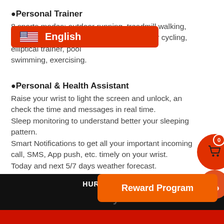●Personal Trainer
8 sports modes: outdoor running, treadmill, walking, hiking, swimming, indoor cycling, elliptical trainer, pool swimming, exercising.
[Figure (screenshot): Language selector overlay showing English with US flag on orange/red background]
●Personal & Health Assistant
Raise your wrist to light the screen and unlock, and check the time and messages in real time.
Sleep monitoring to understand better your sleeping pattern.
Smart Notifications to get all your important incoming call, SMS, App push, etc. timely on your wrist.
Today and next 5/7 days weather forecast.
Specification
Sensors: PPG Optical Heart Rate sensor, 6-axis
[Figure (screenshot): Shopping cart icon button (orange circle) with badge showing 0, and user profile circle button below it]
HURRY! OFFER
Buy
[Figure (screenshot): Reward Program orange button overlay]